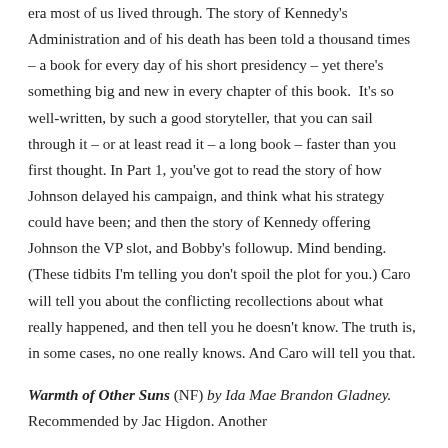era most of us lived through. The story of Kennedy's Administration and of his death has been told a thousand times – a book for every day of his short presidency – yet there's something big and new in every chapter of this book.  It's so well-written, by such a good storyteller, that you can sail through it – or at least read it – a long book – faster than you first thought. In Part 1, you've got to read the story of how Johnson delayed his campaign, and think what his strategy could have been; and then the story of Kennedy offering Johnson the VP slot, and Bobby's followup. Mind bending. (These tidbits I'm telling you don't spoil the plot for you.) Caro will tell you about the conflicting recollections about what really happened, and then tell you he doesn't know. The truth is, in some cases, no one really knows. And Caro will tell you that.
**Warmth of Other Suns** (NF) by Ida Mae Brandon Gladney. Recommended by Jac Higdon. Another